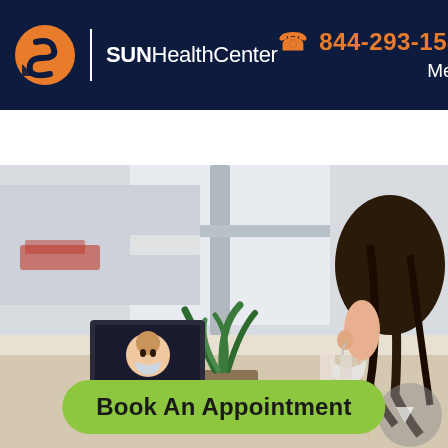SUN Health Center | ☎ 844-293-1587 | Menu
[Figure (photo): A woman with dark hair wearing a white mask sits at a desk near a window with a plant beside her, looking at a laptop screen showing a video call with a doctor.]
Book An Appointment